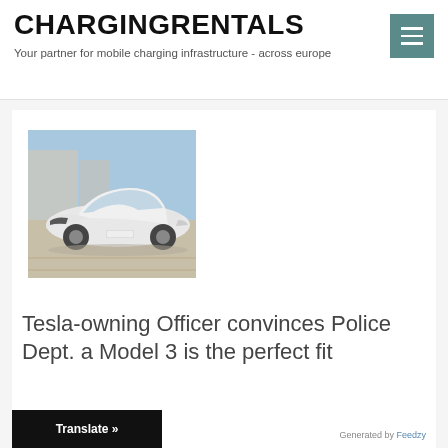CHARGINGRENTALS
Your partner for mobile charging infrastructure - across europe
[Figure (photo): White Tesla Model 3 police car parked in a lot, front three-quarter view, light blue sky background]
Tesla-owning Officer convinces Police Dept. a Model 3 is the perfect fit
Translate »
Generated by Feedzy